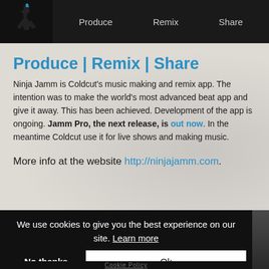Produce | Remix | Share
Produce | Remix | Share
Ninja Jamm is Coldcut's music making and remix app. The intention was to make the world's most advanced beat app and give it away. This has been achieved. Development of the app is ongoing. Jamm Pro, the next release, is out now. In the meantime Coldcut use it for live shows and making music.
More info at the website http://ninjajamm.com.
We use cookies to give you the best experience on our site. Learn more
No thanks
Ok
Cookie Policy